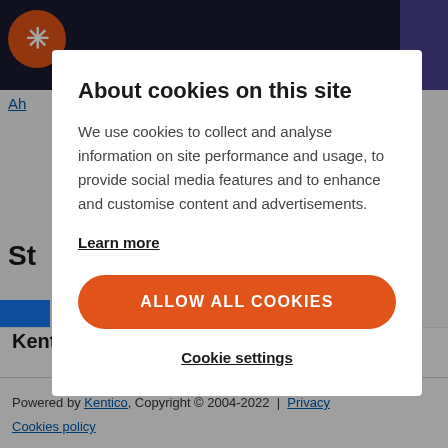[Figure (screenshot): Website background showing dark nav bar with orange Kentico logo, partial page content with social media icons (Facebook, Twitter, RSS), and footer with Kentico Software branding and copyright text.]
About cookies on this site
We use cookies to collect and analyse information on site performance and usage, to provide social media features and to enhance and customise content and advertisements.
Learn more
ALLOW ALL COOKIES
Cookie settings
Kentico Software
Powered by Kentico, Copyright © 2004-2022  |  Privacy  Cookies policy